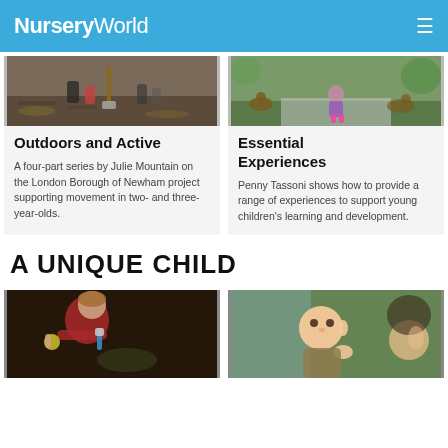NurseryWorld
[Figure (photo): Children digging outdoors with a shovel in soil]
Outdoors and Active
A four-part series by Julie Mountain on the London Borough of Newham project supporting movement in two- and three-year-olds.
[Figure (photo): Child walking among ducks on a path outdoors]
Essential Experiences
Penny Tassoni shows how to provide a range of experiences to support young children's learning and development.
A UNIQUE CHILD
[Figure (photo): Young girl in red jacket reaching out with a ball and blue toothbrush in a dark outdoor shed]
[Figure (photo): Baby and adult woman looking at something, indoors near a window with green background]